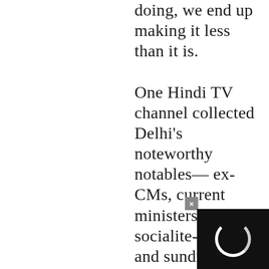doing, we end up making it less than it is.

One Hindi TV channel collected Delhi's noteworthy notables— ex-CMs, current ministers, socialite-activists and sundry poets—in its studio the day after the blasts. A sort of cross between We the People and a Mushaira. What a genius idea— make Delhi bare its wounded soul in verse. A collective therapeutic frenzy of pain would splatter walls with beau